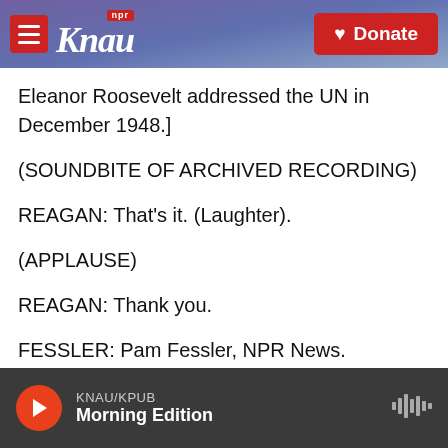KNAU / NPR - Donate
Eleanor Roosevelt addressed the UN in December 1948.]
(SOUNDBITE OF ARCHIVED RECORDING)
REAGAN: That's it. (Laughter).
(APPLAUSE)
REAGAN: Thank you.
FESSLER: Pam Fessler, NPR News. Transcript provided by NPR, Copyright NPR.
KNAU/KPUB Morning Edition